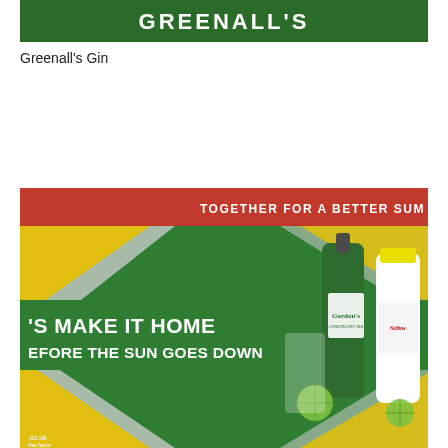[Figure (photo): Greenall's Gin brand banner with dark green background and white GREENALLS text in large bold uppercase letters]
Greenall's Gin
[Figure (photo): Gordon's Gin and Schweppes advertisement showing a Union Jack flag design in green and yellow colors, with a bottle of Gordon's London Dry Gin and Schweppes tonic water, with lime garnish and a glass of gin and tonic. Text reads 'TOGETHER FOR A BETTER SUM[MER]' in red bar at top, and 'LET'S MAKE IT HOME BEFORE THE SUN GOES DOWN' in white text over the green Union Jack design. Small text at bottom shows '.co.uk' and 'the facts'.]